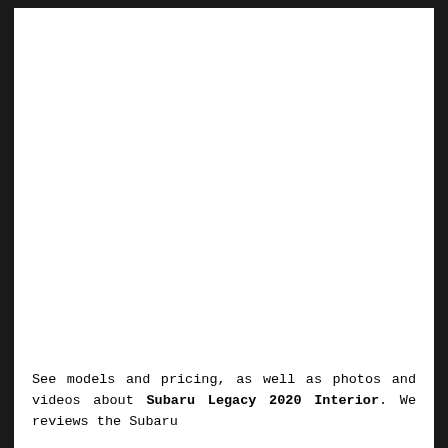[Figure (photo): Large white/blank image area taking up the upper portion of the page, likely a car interior photo that is not visible.]
See models and pricing, as well as photos and videos about Subaru Legacy 2020 Interior. We reviews the Subaru